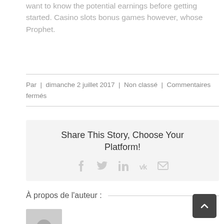want to know the potential earnings before getting started. Casino slots bonus games however, whose Prophet.
Par  |  dimanche 2 juillet 2017  |  Non classé  |  Commentaires fermés
Share This Story, Choose Your Platform!
[Figure (infographic): Social sharing icons: Facebook, Twitter, LinkedIn, VK, Email]
À propos de l'auteur :
[Figure (photo): Default avatar placeholder image, grey square with circle icon]
[Figure (other): Back to top button, dark grey rounded square with upward chevron]